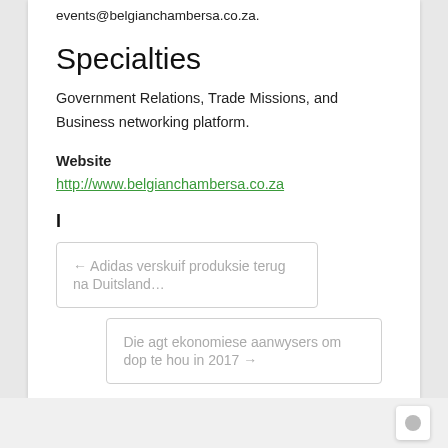events@belgianchambersa.co.za.
Specialties
Government Relations, Trade Missions, and Business networking platform.
Website
http://www.belgianchambersa.co.za
I
← Adidas verskuif produksie terug na Duitsland…
Die agt ekonomiese aanwysers om dop te hou in 2017 →